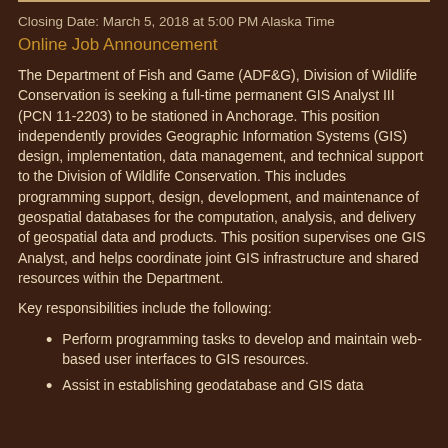Closing Date: March 5, 2018 at 5:00 PM Alaska Time
Online Job Announcement
The Department of Fish and Game (ADF&G), Division of Wildlife Conservation is seeking a full-time permanent GIS Analyst III (PCN 11-2203) to be stationed in Anchorage. This position independently provides Geographic Information Systems (GIS) design, implementation, data management, and technical support to the Division of Wildlife Conservation. This includes programming support, design, development, and maintenance of geospatial databases for the computation, analysis, and delivery of geospatial data and products. This position supervises one GIS Analyst, and helps coordinate joint GIS infrastructure and shared resources within the Department.
Key responsibilities include the following:
Perform programming tasks to develop and maintain web-based user interfaces to GIS resources.
Assist in establishing geodatabase and GIS data